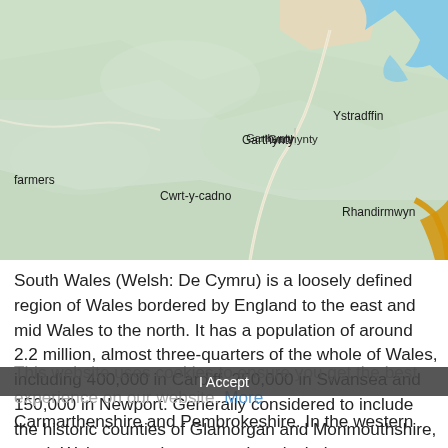[Figure (map): Map showing the area of South Wales/mid Wales including place names: Garthynty, Ystradffin, farmers, Cwrt-y-cadno, Rhandirmwyn. Green terrain with road markings and a river/reservoir in the top right.]
South Wales (Welsh: De Cymru) is a loosely defined region of Wales bordered by England to the east and mid Wales to the north. It has a population of around 2.2 million, almost three-quarters of the whole of Wales, including 400,000 in Cardiff, 250,000 in Swansea and 150,000 in Newport. Generally considered to include the historic counties of Glamorgan and Monmouthshire, south Wales extends westwards to include Carmarthenshire and Pembrokeshire. In the western